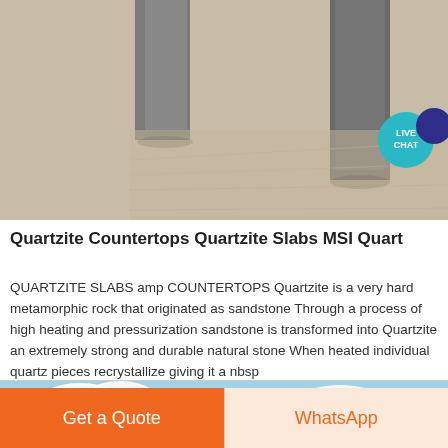[Figure (photo): Photo of quartzite stone surface — grey stone columns and sandy stone floor texture]
[Figure (infographic): Live Chat speech bubble badge in teal/blue color with text LIVE CHAT]
Quartzite Countertops Quartzite Slabs MSI Quart
QUARTZITE SLABS amp COUNTERTOPS Quartzite is a very hard metamorphic rock that originated as sandstone Through a process of high heating and pressurization sandstone is transformed into Quartzite an extremely strong and durable natural stone When heated individual quartz pieces recrystallize giving it a nbsp
[Figure (photo): Partial bottom image showing blue sky and white clouds]
Get a Quote
WhatsApp